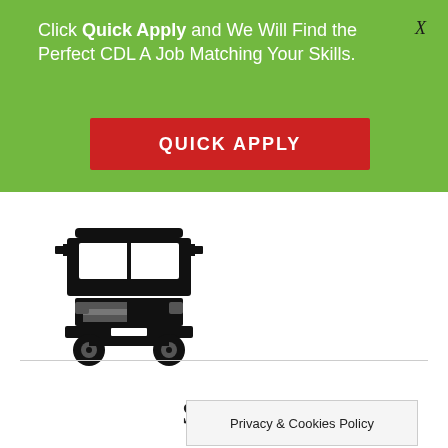Click Quick Apply and We Will Find the Perfect CDL A Job Matching Your Skills.
[Figure (other): Red button labeled QUICK APPLY on green banner]
[Figure (illustration): Black and white front-view illustration of a semi truck / 18-wheeler]
Simi...
Privacy & Cookies Policy